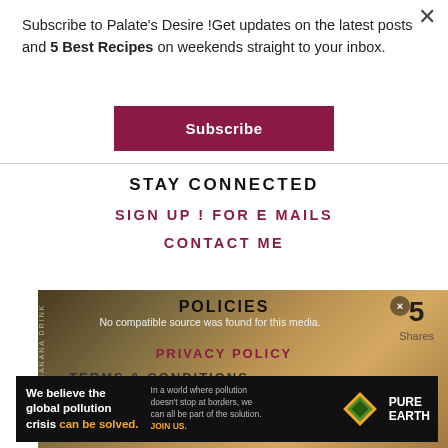Subscribe to Palate's Desire !Get updates on the latest posts and 5 Best Recipes on weekends straight to your inbox.
Subscribe
STAY CONNECTED
SIGN UP ! FOR E MAILS
CONTACT ME
POLICIES
PRIVACY POLICY
TERMS & CONDITIONS
5 Shares
[Figure (screenshot): Ad banner: Pure Earth pollution awareness advertisement with text 'We believe the global pollution crisis can be solved.' and 'In a world where pollution doesn't stop at borders, we can all be part of the solution. JOIN US.']